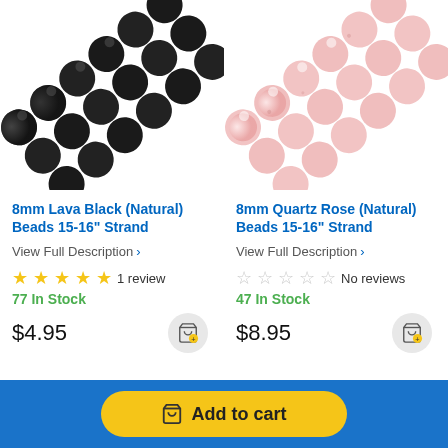[Figure (photo): 8mm black lava stone beads strand, diagonal arrangement on white background]
[Figure (photo): 8mm rose quartz beads strand, diagonal arrangement on white background]
8mm Lava Black (Natural) Beads 15-16" Strand
8mm Quartz Rose (Natural) Beads 15-16" Strand
View Full Description >
View Full Description >
★★★★★ 1 review
77 In Stock
$4.95
☆☆☆☆☆ No reviews
47 In Stock
$8.95
Add to cart